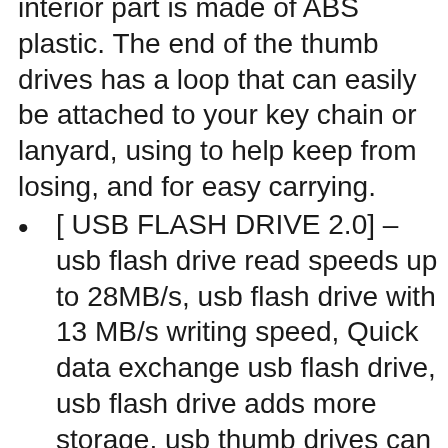interior part is made of ABS plastic. The end of the thumb drives has a loop that can easily be attached to your key chain or lanyard, using to help keep from losing, and for easy carrying.
[ USB FLASH DRIVE 2.0] – usb flash drive read speeds up to 28MB/s, usb flash drive with 13 MB/s writing speed, Quick data exchange usb flash drive, usb flash drive adds more storage, usb thumb drives can used for game consoles, in-car audio and more, usb thumb drives makes files transmission easier and faster.
[100% MONEY BACK] – usb flash drive owns premium Grade A chip, each of our 1000GB usb flash drive will be tested before shipping, usb flash drive